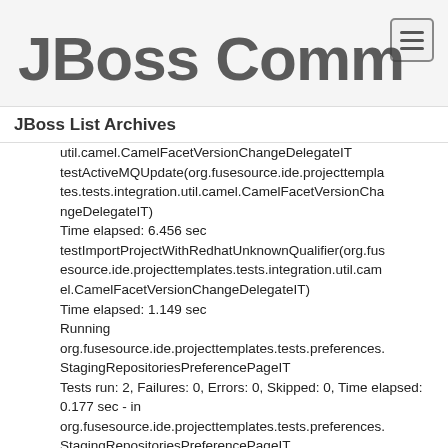[Figure (logo): JBoss Community logo with large bold text]
JBoss List Archives
util.camel.CamelFacetVersionChangeDelegateIT
testActiveMQUpdate(org.fusesource.ide.projecttemplates.tests.integration.util.camel.CamelFacetVersionChangeDelegateIT)
Time elapsed: 6.456 sec
testImportProjectWithRedhatUnknownQualifier(org.fusesource.ide.projecttemplates.tests.integration.util.camel.CamelFacetVersionChangeDelegateIT)
Time elapsed: 1.149 sec
Running org.fusesource.ide.projecttemplates.tests.preferences.StagingRepositoriesPreferencePageIT
Tests run: 2, Failures: 0, Errors: 0, Skipped: 0, Time elapsed: 0.177 sec - in org.fusesource.ide.projecttemplates.tests.preferences.StagingRepositoriesPreferencePageIT
testStagingRepositoryPreferencePage(org.fusesource